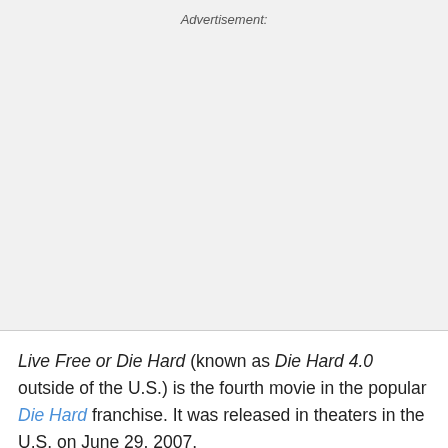Advertisement:
[Figure (other): Advertisement placeholder area — blank gray rectangle]
Live Free or Die Hard (known as Die Hard 4.0 outside of the U.S.) is the fourth movie in the popular Die Hard franchise. It was released in theaters in the U.S. on June 29, 2007.